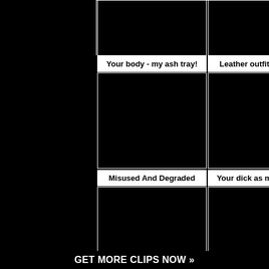[Figure (other): Top left video thumbnail, black image]
[Figure (other): Top right video thumbnail, black image]
Your body - my ash tray!
Leather outfit and a cig
[Figure (other): Middle left video thumbnail, black image]
[Figure (other): Middle right video thumbnail, black image]
Misused And Degraded
Your dick as my ash tray
[Figure (other): Bottom left video thumbnail, black image]
[Figure (other): Bottom right video thumbnail, black image]
GET MORE CLIPS NOW »